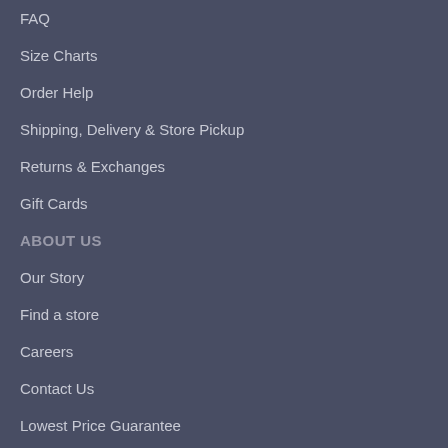FAQ
Size Charts
Order Help
Shipping, Delivery & Store Pickup
Returns & Exchanges
Gift Cards
ABOUT US
Our Story
Find a store
Careers
Contact Us
Lowest Price Guarantee
PRIVACY & TERMS
Privacy Policy